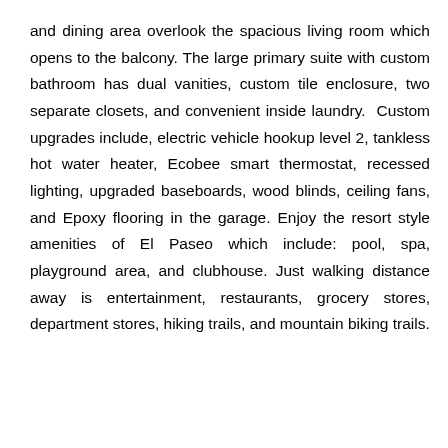and dining area overlook the spacious living room which opens to the balcony. The large primary suite with custom bathroom has dual vanities, custom tile enclosure, two separate closets, and convenient inside laundry.  Custom upgrades include, electric vehicle hookup level 2, tankless hot water heater, Ecobee smart thermostat, recessed lighting, upgraded baseboards, wood blinds, ceiling fans, and Epoxy flooring in the garage. Enjoy the resort style amenities of El Paseo which include: pool, spa, playground area, and clubhouse. Just walking distance away is entertainment, restaurants, grocery stores, department stores, hiking trails, and mountain biking trails.